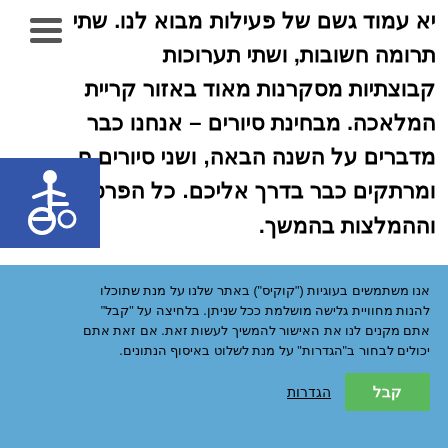יא עמוד גשם של פעילות מבוא לנו. שתי תרומה חשובות, ושתי תערוכות קבוצתיות מסקרנות מאוד באזור קריית המלאכה. מבחינת סיורים – אנחנו כבר מדברים על השנה הבאה, ושני סיורים ח ומרתקים כבר בדרך אליכם. כל הפרטים וההמלצות בהמשך.
[Figure (infographic): Blue square with white wheelchair accessibility symbol icon]
אנו משתמשים בעוגיות ("קוקיס") באתר שלנו על מנת שתוכלו להנות מחוויית גלישה מושלמת ככל שניתן. בלחיצה על "קבל" אתם מקנים לנו את האישור להמשיך לעשות זאת. אם זאת אתם יכולים לבחור ב"הגדרות" על מנת לשלוט באיסוף הנתונים.